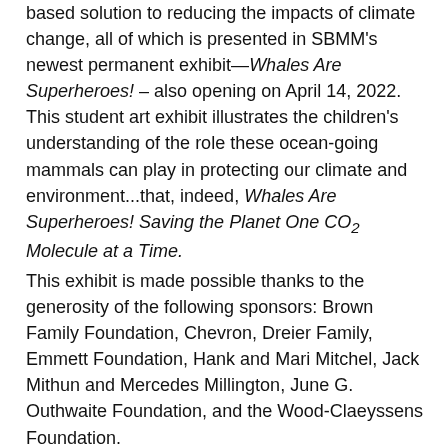based solution to reducing the impacts of climate change, all of which is presented in SBMM's newest permanent exhibit—Whales Are Superheroes! – also opening on April 14, 2022. This student art exhibit illustrates the children's understanding of the role these ocean-going mammals can play in protecting our climate and environment...that, indeed, Whales Are Superheroes! Saving the Planet One CO₂ Molecule at a Time.
This exhibit is made possible thanks to the generosity of the following sponsors: Brown Family Foundation, Chevron, Dreier Family, Emmett Foundation, Hank and Mari Mitchel, Jack Mithun and Mercedes Millington, June G. Outhwaite Foundation, and the Wood-Claeyssens Foundation.